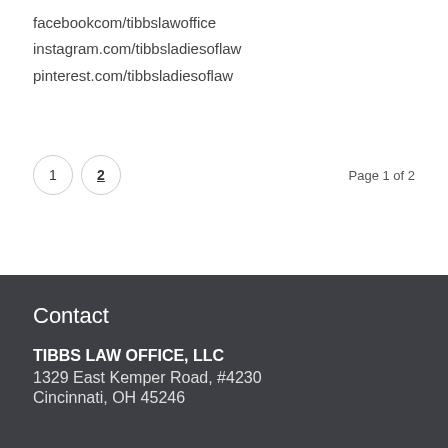facebookcom/tibbslawoffice
instagram.com/tibbsladiesoflaw
pinterest.com/tibbsladiesoflaw
1  2  Page 1 of 2
Contact
TIBBS LAW OFFICE, LLC
1329 East Kemper Road, #4230
Cincinnati, OH 45246